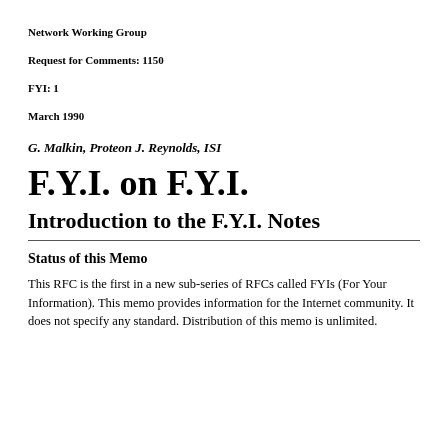Network Working Group
Request for Comments: 1150
FYI: 1
March 1990
G. Malkin, Proteon J. Reynolds, ISI
F.Y.I. on F.Y.I.
Introduction to the F.Y.I. Notes
Status of this Memo
This RFC is the first in a new sub-series of RFCs called FYIs (For Your Information). This memo provides information for the Internet community. It does not specify any standard. Distribution of this memo is unlimited.